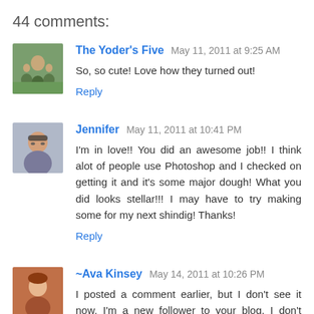44 comments:
The Yoder's Five May 11, 2011 at 9:25 AM
So, so cute! Love how they turned out!
Reply
Jennifer May 11, 2011 at 10:41 PM
I'm in love!! You did an awesome job!! I think alot of people use Photoshop and I checked on getting it and it's some major dough! What you did looks stellar!!! I may have to try making some for my next shindig! Thanks!
Reply
~Ava Kinsey May 14, 2011 at 10:26 PM
I posted a comment earlier, but I don't see it now. I'm a new follower to your blog. I don't remember how I found you, but I'm glad I did! This is one of the most inspiring posts I've